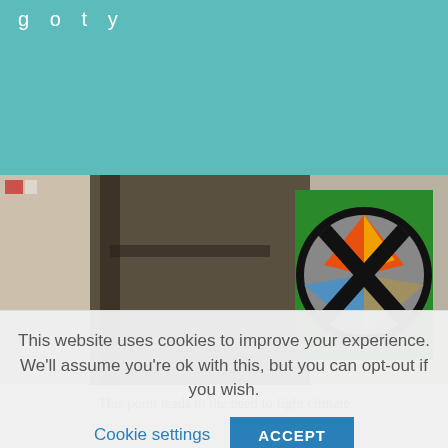g o t y
[Figure (photo): A street scene photograph showing a dark pole/wall on the left and a green Extinction Rebellion sign/sticker on the right, with fire, water and environmental imagery visible through the circular XR logo cutout]
This point leads to the need to fight climate
This website uses cookies to improve your experience. We'll assume you're ok with this, but you can opt-out if you wish.
Cookie settings   ACCEPT